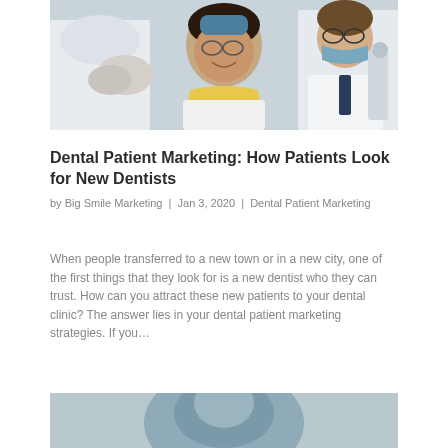[Figure (photo): Dental office scene showing a smiling female patient in a dental chair wearing a yellow bib, shaking hands or interacting with a dental professional in white gloves on the left, and another dentist in a white coat with glasses on the right.]
Dental Patient Marketing: How Patients Look for New Dentists
by Big Smile Marketing | Jan 3, 2020 | Dental Patient Marketing
When people transferred to a new town or in a new city, one of the first things that they look for is a new dentist who they can trust. How can you attract these new patients to your dental clinic? The answer lies in your dental patient marketing strategies. If you…
[Figure (photo): Partial photo visible at bottom of page, appears to show a person with blurred background, cut off at bottom edge.]